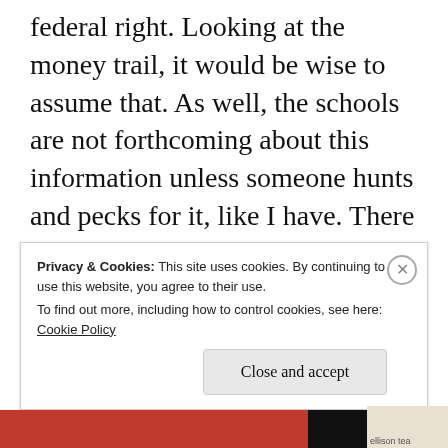federal right. Looking at the money trail, it would be wise to assume that. As well, the schools are not forthcoming about this information unless someone hunts and pecks for it, like I have. There is no press release, or any accounting of the schools with the DOE when this occurs. The schools are not obligated to report this information to the DOE according to
Privacy & Cookies: This site uses cookies. By continuing to use this website, you agree to their use.
To find out more, including how to control cookies, see here: Cookie Policy

Close and accept